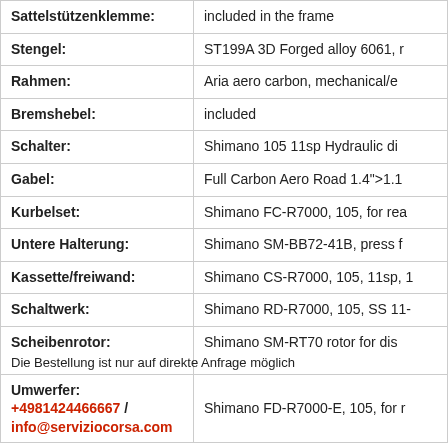| Bezeichnung | Wert |
| --- | --- |
| Sattelstützenklemme: | included in the frame |
| Stengel: | ST199A 3D Forged alloy 6061, r… |
| Rahmen: | Aria aero carbon, mechanical/e… |
| Bremshebel: | included |
| Schalter: | Shimano 105 11sp Hydraulic di… |
| Gabel: | Full Carbon Aero Road 1.4">1.1… |
| Kurbelset: | Shimano FC-R7000, 105, for rea… |
| Untere Halterung: | Shimano SM-BB72-41B, press f… |
| Kassette/freiwand: | Shimano CS-R7000, 105, 11sp, 1… |
| Schaltwerk: | Shimano RD-R7000, 105, SS 11-… |
| Scheibenrotor: | Shimano SM-RT70 rotor for dis… |
| Umwerfer: | Shimano FD-R7000-E, 105, for r… |